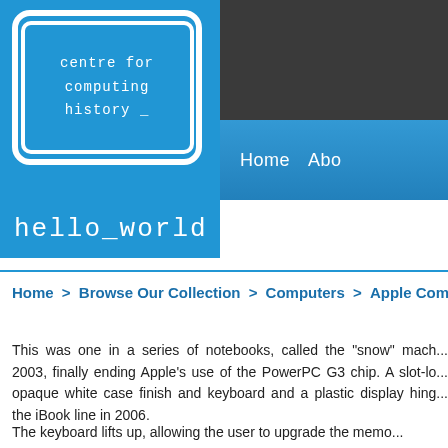[Figure (logo): Centre for Computing History logo — blue background with white monitor icon containing text 'centre for computing history _' in monospace font]
Home  Abo
hello_world
Home > Browse Our Collection > Computers > Apple Compu...
This was one in a series of notebooks, called the "snow" machines, from 2003, finally ending Apple's use of the PowerPC G3 chip. A slot-loading drive, opaque white case finish and keyboard and a plastic display hinge all marked the iBook line in 2006.
The keyboard lifts up, allowing the user to upgrade the memo...